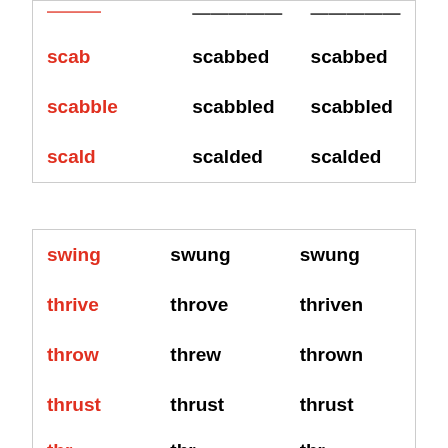| verb | past simple | past participle |
| --- | --- | --- |
| (clipped) | (clipped) | (clipped) |
| scab | scabbed | scabbed |
| scabble | scabbled | scabbled |
| scald | scalded | scalded |
| verb | past simple | past participle |
| --- | --- | --- |
| swing | swung | swung |
| thrive | throve | thriven |
| throw | threw | thrown |
| thrust | thrust | thrust |
| (clipped) | (clipped) | (clipped) |